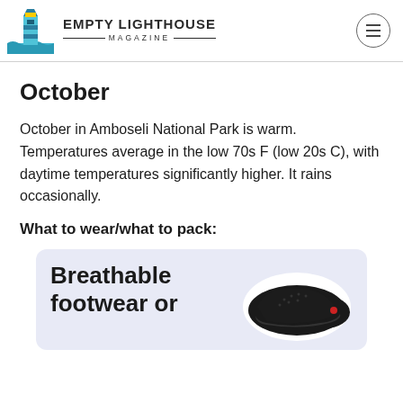EMPTY LIGHTHOUSE MAGAZINE
October
October in Amboseli National Park is warm. Temperatures average in the low 70s F (low 20s C), with daytime temperatures significantly higher. It rains occasionally.
What to wear/what to pack:
[Figure (photo): Product card with lavender background showing black breathable slip-on shoe with text 'Breathable footwear or']